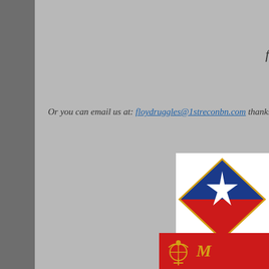f
Or you can email us at: floydruggles@1streconbn.com  thanks for s
[Figure (illustration): Military unit insignia/patch showing a diamond shape with blue upper half containing a white star, red lower portion, on white background]
Click ir
B
[Figure (logo): Red banner with USMC Eagle Globe and Anchor emblem in gold on left and partial yellow italic text on right]